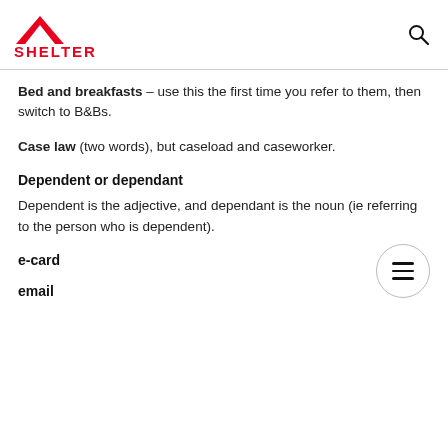SHELTER
Bed and breakfasts – use this the first time you refer to them, then switch to B&Bs.
Case law (two words), but caseload and caseworker.
Dependent or dependant
Dependent is the adjective, and dependant is the noun (ie referring to the person who is dependent).
e-card
email